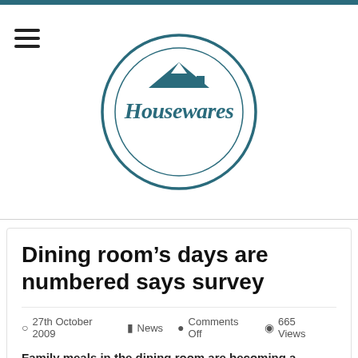[Figure (logo): Housewares circular logo with house/roof icon in dark teal color, with script text 'Housewares' inside a double-ring circle]
Dining room’s days are numbered says survey
27th October 2009   News   Comments Off   665 Views
Family meals in the dining room are becoming a distant memory as